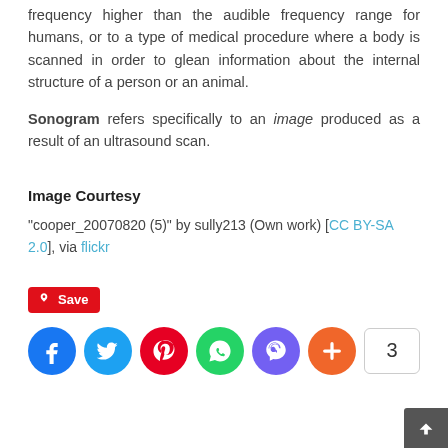frequency higher than the audible frequency range for humans, or to a type of medical procedure where a body is scanned in order to glean information about the internal structure of a person or an animal.
Sonogram refers specifically to an image produced as a result of an ultrasound scan.
Image Courtesy
“cooper_20070820 (5)” by sully213 (Own work) [CC BY-SA 2.0], via flickr
[Figure (other): Save button (Pinterest style) and social sharing icons row: Facebook, Twitter, Pinterest, WhatsApp, Viber, More (+), and a share count of 3]
[Figure (other): Back to top arrow button in bottom right corner]